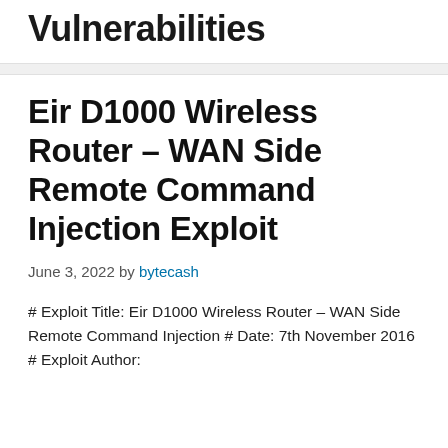Vulnerabilities
Eir D1000 Wireless Router – WAN Side Remote Command Injection Exploit
June 3, 2022 by bytecash
# Exploit Title: Eir D1000 Wireless Router – WAN Side Remote Command Injection # Date: 7th November 2016 # Exploit Author: